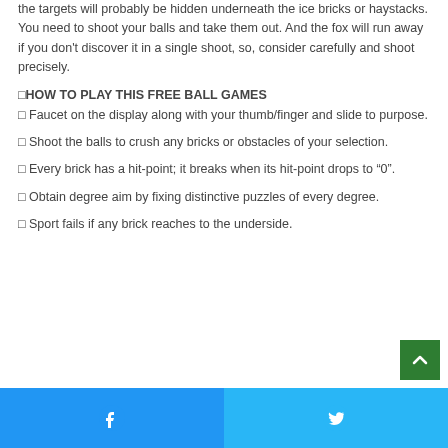the targets will probably be hidden underneath the ice bricks or haystacks. You need to shoot your balls and take them out. And the fox will run away if you don't discover it in a single shoot, so, consider carefully and shoot precisely.
⊡HOW TO PLAY THIS FREE BALL GAMES
⊡ Faucet on the display along with your thumb/finger and slide to purpose.
⊡ Shoot the balls to crush any bricks or obstacles of your selection.
⊡ Every brick has a hit-point; it breaks when its hit-point drops to "0".
⊡ Obtain degree aim by fixing distinctive puzzles of every degree.
⊡ Sport fails if any brick reaches to the underside.